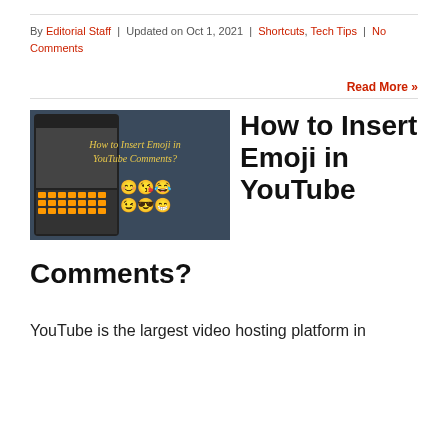By Editorial Staff | Updated on Oct 1, 2021 | Shortcuts, Tech Tips | No Comments
Read More »
[Figure (screenshot): Screenshot showing 'How to Insert Emoji in YouTube Comments?' text on a dark background with emoji icons displayed]
How to Insert Emoji in YouTube Comments?
YouTube is the largest video hosting platform in